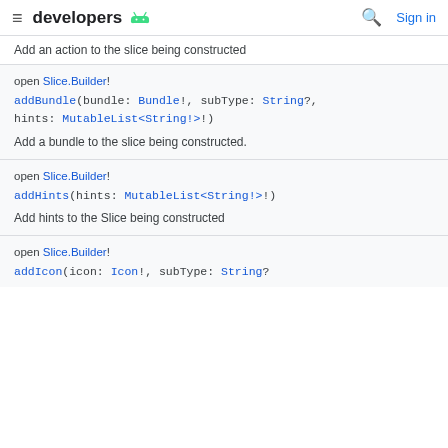developers
Add an action to the slice being constructed
open Slice.Builder!
addBundle(bundle: Bundle!, subType: String?, hints: MutableList<String!>!)
Add a bundle to the slice being constructed.
open Slice.Builder!
addHints(hints: MutableList<String!>!)
Add hints to the Slice being constructed
open Slice.Builder!
addIcon(icon: Icon!, subType: String?